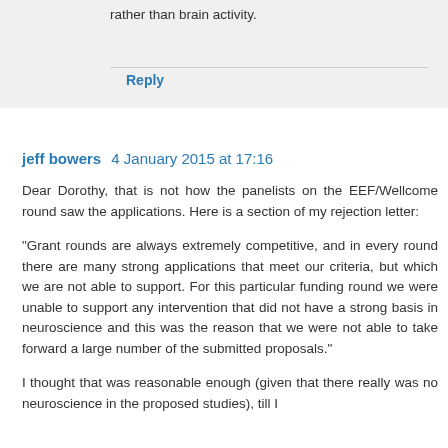rather than brain activity.
Reply
jeff bowers  4 January 2015 at 17:16
Dear Dorothy, that is not how the panelists on the EEF/Wellcome round saw the applications. Here is a section of my rejection letter:
“Grant rounds are always extremely competitive, and in every round there are many strong applications that meet our criteria, but which we are not able to support. For this particular funding round we were unable to support any intervention that did not have a strong basis in neuroscience and this was the reason that we were not able to take forward a large number of the submitted proposals.”
I thought that was reasonable enough (given that there really was no neuroscience in the proposed studies), till I